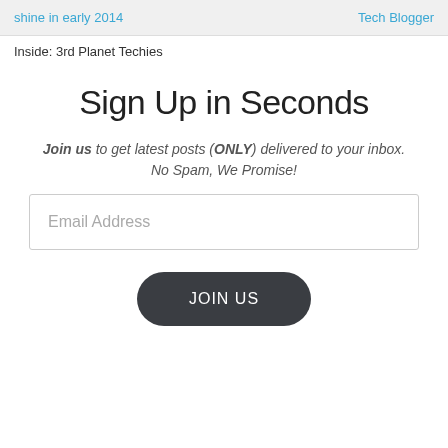shine in early 2014 | Tech Blogger
Inside: 3rd Planet Techies
Sign Up in Seconds
Join us to get latest posts (ONLY) delivered to your inbox. No Spam, We Promise!
Email Address
JOIN US